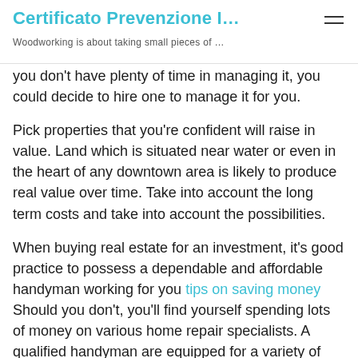Certificato Prevenzione I…
Woodworking is about taking small pieces of …
you don't have plenty of time in managing it, you could decide to hire one to manage it for you.
Pick properties that you're confident will raise in value. Land which is situated near water or even in the heart of any downtown area is likely to produce real value over time. Take into account the long term costs and take into account the possibilities.
When buying real estate for an investment, it's good practice to possess a dependable and affordable handyman working for you tips on saving money Should you don't, you'll find yourself spending lots of money on various home repair specialists. A qualified handyman are equipped for a variety of jobs. It is also a benefit to possess a